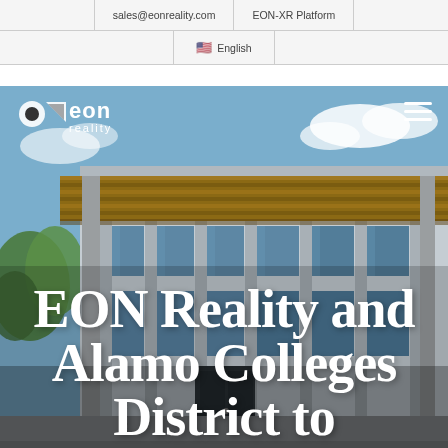sales@eonreality.com | EON-XR Platform | 🇺🇸 English
[Figure (logo): EON Reality logo in white, with geometric shapes]
[Figure (photo): Modern college building with wood-paneled overhang, glass facade, and blue sky]
EON Reality and Alamo Colleges District to